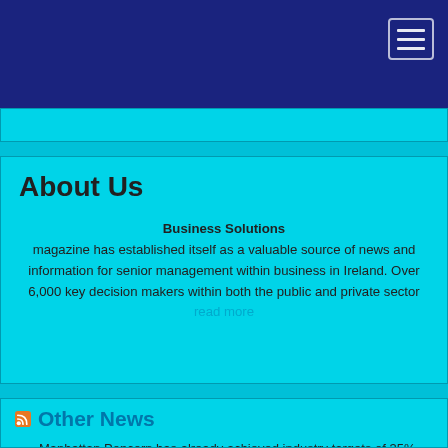About Us
Business Solutions magazine has established itself as a valuable source of news and information for senior management within business in Ireland. Over 6,000 key decision makers within both the public and private sector read more
Other News
Manhattan Popcorn has already achieved industry targets of 35% less emissions 8 years ahead of the 2030 deadline.
Go Up recharges its purpose-driven partnership with The